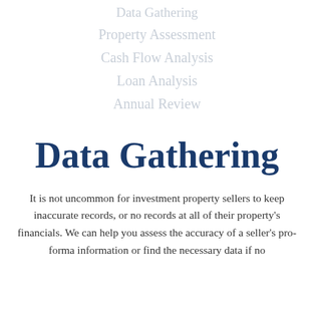Data Gathering
Property Assessment
Cash Flow Analysis
Loan Analysis
Annual Review
Data Gathering
It is not uncommon for investment property sellers to keep inaccurate records, or no records at all of their property's financials. We can help you assess the accuracy of a seller's pro-forma information or find the necessary data if no